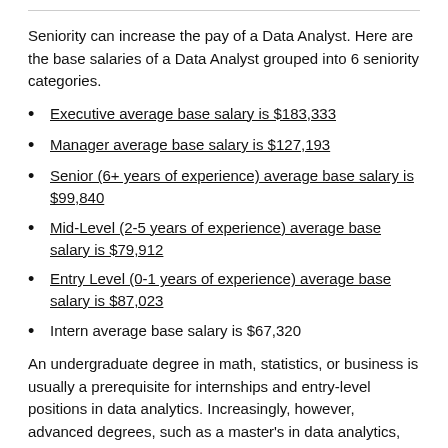Seniority can increase the pay of a Data Analyst. Here are the base salaries of a Data Analyst grouped into 6 seniority categories.
Executive average base salary is $183,333
Manager average base salary is $127,193
Senior (6+ years of experience) average base salary is $99,840
Mid-Level (2-5 years of experience) average base salary is $79,912
Entry Level (0-1 years of experience) average base salary is $87,023
Intern average base salary is $67,320
An undergraduate degree in math, statistics, or business is usually a prerequisite for internships and entry-level positions in data analytics. Increasingly, however, advanced degrees, such as a master’s in data analytics, are becoming necessary to climb the